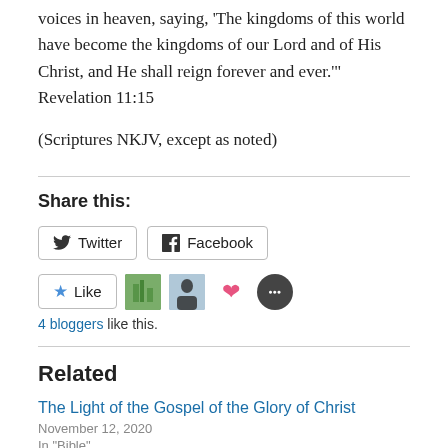voices in heaven, saying, ‘The kingdoms of this world have become the kingdoms of our Lord and of His Christ, and He shall reign forever and ever.’” Revelation 11:15
(Scriptures NKJV, except as noted)
Share this:
Twitter  Facebook
Like  4 bloggers like this.
Related
The Light of the Gospel of the Glory of Christ
November 12, 2020
In "Bible"